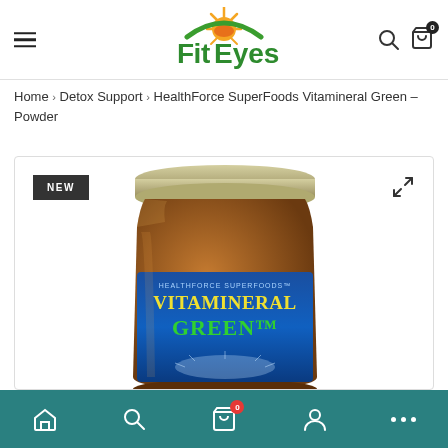[Figure (logo): FitEyes logo with sun/citrus graphic above green text]
Home > Detox Support > HealthForce SuperFoods Vitamineral Green – Powder
[Figure (photo): HealthForce SuperFoods Vitamineral Green powder product in amber glass jar with blue label, showing 'NEW' badge in top-left corner and expand icon in top-right corner]
Home | Search | Cart (0) | Account | More